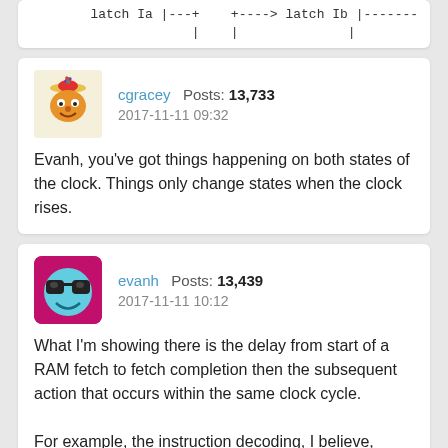[Figure (screenshot): Code block showing latch diagram with ASCII art: latch Ia |---+   +----> latch Ib |------------]
cgracey  Posts: 13,733
2017-11-11 09:32

Evanh, you've got things happening on both states of the clock. Things only change states when the clock rises.
evanh  Posts: 13,439
2017-11-11 10:12

What I'm showing there is the delay from start of a RAM fetch to fetch completion then the subsequent action that occurs within the same clock cycle.

For example, the instruction decoding, I believe, occurs in the same clock cycle as the instruction is fetched. I've